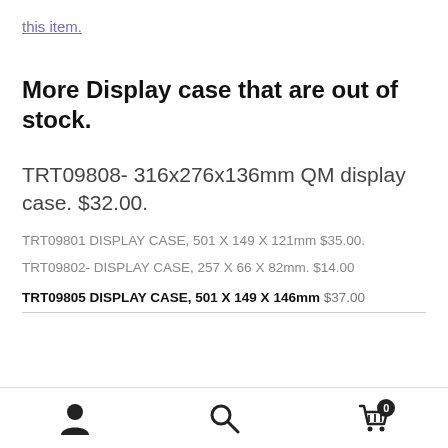this item.
More Display case that are out of stock.
TRT09808- 316x276x136mm QM display case. $32.00.
TRT09801 DISPLAY CASE, 501 X 149 X 121mm $35.00.
TRT09802- DISPLAY CASE, 257 X 66 X 82mm. $14.00
TRT09805 DISPLAY CASE, 501 X 149 X 146mm $37.00
[Figure (other): Bottom navigation bar with user account icon, search icon, and shopping cart icon with badge showing 0]